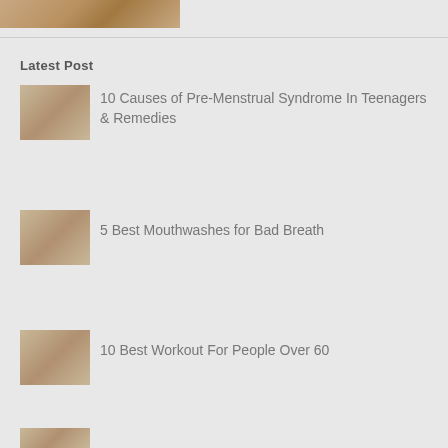[Figure (photo): Partial top thumbnail image strip]
Latest Post
10 Causes of Pre-Menstrual Syndrome In Teenagers & Remedies
5 Best Mouthwashes for Bad Breath
10 Best Workout For People Over 60